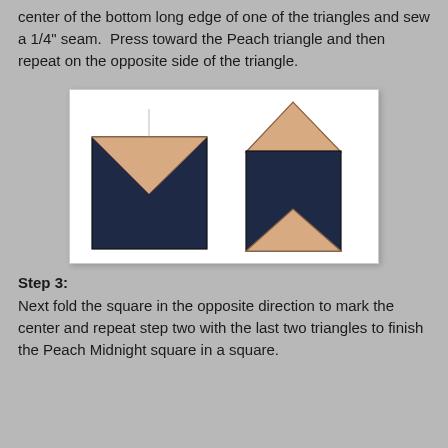center of the bottom long edge of one of the triangles and sew a 1/4" seam.  Press toward the Peach triangle and then repeat on the opposite side of the triangle.
[Figure (illustration): Two quilting diagrams on white background: Left shows a dark navy square with a peach/tan triangle folded down at the top (pointing down), with a faint center line. Right shows a larger dark navy square with a peach/tan triangle pointing up on top and another peach/tan triangle pointing up at the bottom, forming a square-in-a-square quilt block.]
Step 3:
Next fold the square in the opposite direction to mark the center and repeat step two with the last two triangles to finish the Peach Midnight square in a square.